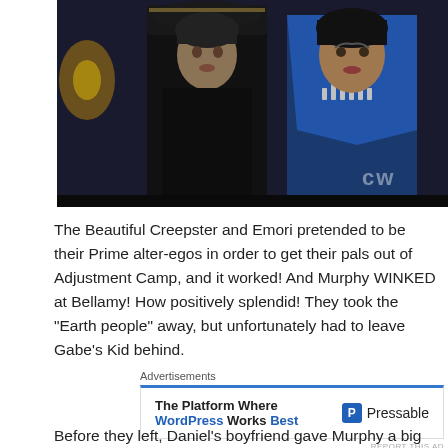[Figure (photo): Two characters standing side by side — a man in dark ornate military-style jacket on the left, and a woman in a blue halter top with a spiked necklace on the right. CW network logo visible bottom right of image.]
The Beautiful Creepster and Emori pretended to be their Prime alter-egos in order to get their pals out of Adjustment Camp, and it worked! And Murphy WINKED at Bellamy! How positively splendid! They took the “Earth people” away, but unfortunately had to leave Gabe’s Kid behind.
Advertisements
The Platform Where WordPress Works Best   Pressable
REPORT THIS AD
Before they left, Daniel’s boyfriend gave Murphy a big